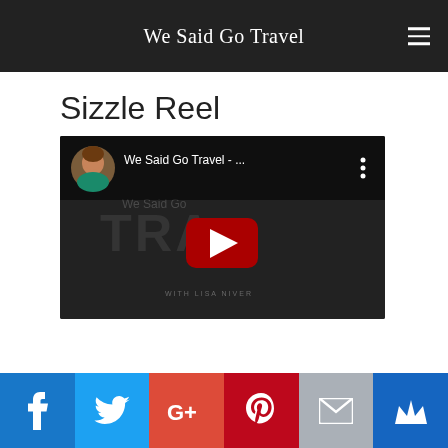We Said Go Travel
Sizzle Reel
[Figure (screenshot): YouTube video embed thumbnail for 'We Said Go Travel - ...' showing a channel avatar of a woman in a teal shirt, dark background with 'TRAVEL' text overlay, YouTube play button in center, and three-dot menu icon.]
Social sharing bar: Facebook, Twitter, Google+, Pinterest, Email, Crown